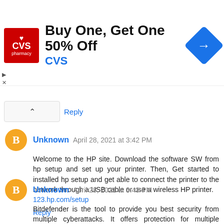[Figure (infographic): CVS Pharmacy advertisement banner: red CVS pharmacy logo on left, headline 'Buy One, Get One 50% Off', brand name 'CVS' in blue, blue diamond navigation arrow icon on right]
Reply
Unknown April 28, 2021 at 3:42 PM
Welcome to the HP site. Download the software SW from hp setup and set up your printer. Then, Get started to installed hp setup and get able to connect the printer to the network through a USB cable or use a wireless HP printer.
123.hp.com/setup
Reply
Unknown April 28, 2021 at 3:43 PM
Bitdefender is the tool to provide you best security from multiple cyberattacks. It offers protection for multiple devices under one subscription, which can be managed by a single device.